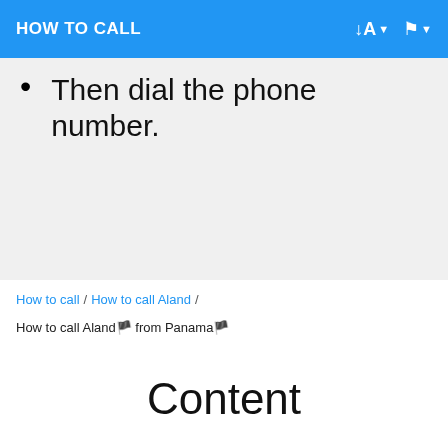HOW TO CALL
Then dial the phone number.
How to call / How to call Aland / How to call Aland🏴 from Panama🏴
Content